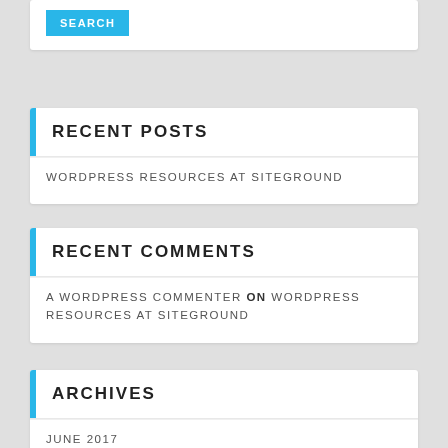SEARCH
RECENT POSTS
WORDPRESS RESOURCES AT SITEGROUND
RECENT COMMENTS
A WORDPRESS COMMENTER ON WORDPRESS RESOURCES AT SITEGROUND
ARCHIVES
JUNE 2017